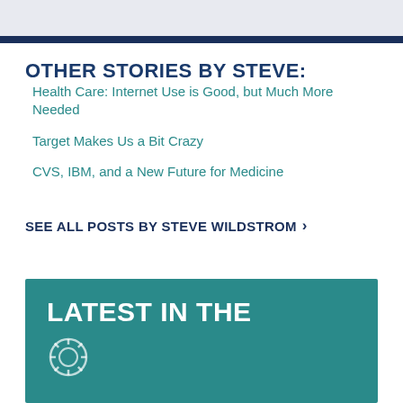OTHER STORIES BY STEVE:
Health Care: Internet Use is Good, but Much More Needed
Target Makes Us a Bit Crazy
CVS, IBM, and a New Future for Medicine
SEE ALL POSTS BY STEVE WILDSTROM ›
LATEST IN THE